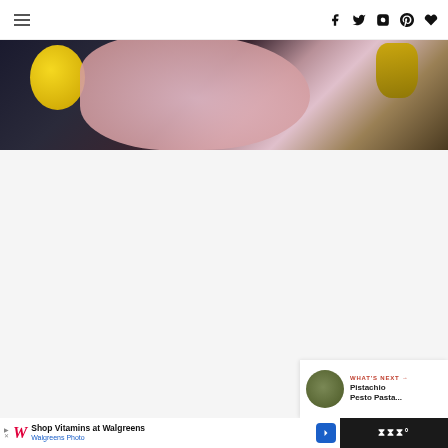Navigation header with hamburger menu and social icons (facebook, twitter, instagram, pinterest, heart/favorite)
[Figure (photo): Food photo showing a yellow lemon, pink dough or flatbread, and golden/olive colored ingredient on a dark background]
[Figure (screenshot): Website content area with light gray background, three dot pagination indicators, floating heart/like button showing count of 4, and share button]
4
WHAT'S NEXT → Pistachio Pesto Pasta...
[Figure (photo): Thumbnail of Pistachio Pesto Pasta dish]
[Figure (screenshot): Walgreens advertisement banner: Shop Vitamins at Walgreens / Walgreens Photo]